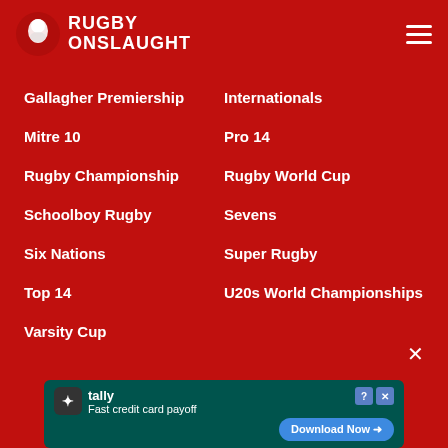Rugby Onslaught
Gallagher Premiership
Internationals
Mitre 10
Pro 14
Rugby Championship
Rugby World Cup
Schoolboy Rugby
Sevens
Six Nations
Super Rugby
Top 14
U20s World Championships
Varsity Cup
[Figure (screenshot): Advertisement banner for Tally app: Fast credit card payoff, Download Now button]